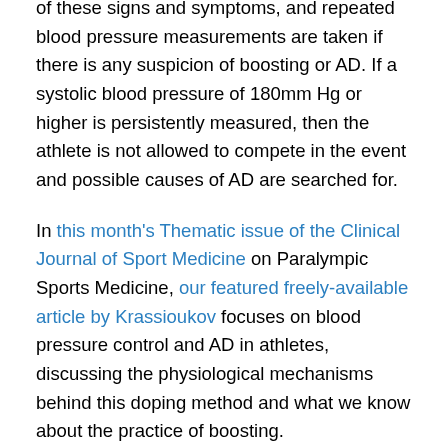of these signs and symptoms, and repeated blood pressure measurements are taken if there is any suspicion of boosting or AD. If a systolic blood pressure of 180mm Hg or higher is persistently measured, then the athlete is not allowed to compete in the event and possible causes of AD are searched for.
In this month's Thematic issue of the Clinical Journal of Sport Medicine on Paralympic Sports Medicine, our featured freely-available article by Krassioukov focuses on blood pressure control and AD in athletes, discussing the physiological mechanisms behind this doping method and what we know about the practice of boosting.
For those who may wish to raise awareness of boosting as a doping method, there is a useful presentation on AD and boosting available on the official website of the Paralympic movement, funded in part by the World Anti-Doping